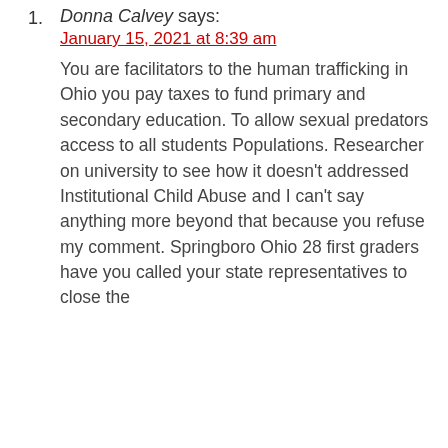Donna Calvey says: January 15, 2021 at 8:39 am You are facilitators to the human trafficking in Ohio you pay taxes to fund primary and secondary education. To allow sexual predators access to all students Populations. Researcher on university to see how it doesn't addressed Institutional Child Abuse and I can't say anything more beyond that because you refuse my comment. Springboro Ohio 28 first graders have you called your state representatives to close the